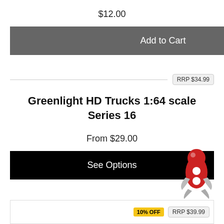$12.00
Add to Cart
RRP $34.99
Greenlight HD Trucks 1:64 scale Series 16
From $29.00
See Options
[Figure (illustration): Red and grey rocket/pin mascot icon]
10% OFF  RRP $39.99